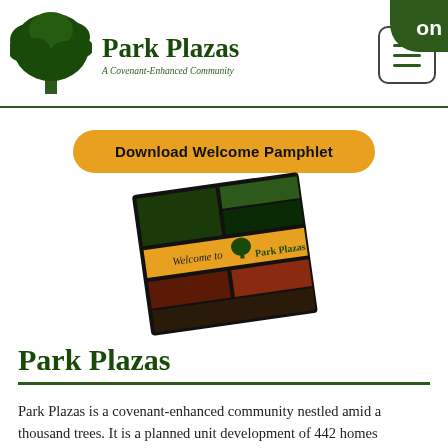[Figure (logo): Park Plazas logo with green tree icon and text 'Park Plazas - A Covenant-Enhanced Community' with hamburger menu button and green corner decoration]
[Figure (illustration): Download Welcome Pamphlet button (orange/gold rounded rectangle) with a tilted pamphlet booklet image below it showing Park Plazas welcome materials]
Park Plazas
Park Plazas is a covenant-enhanced community nestled amid a thousand trees. It is a planned unit development of 442 homes clustered around 36 Plazas (cul-de-sacs) on 154 acres. Almost half the development is designated to remain as open space. These common areas are linked by eight miles of paved walking paths.